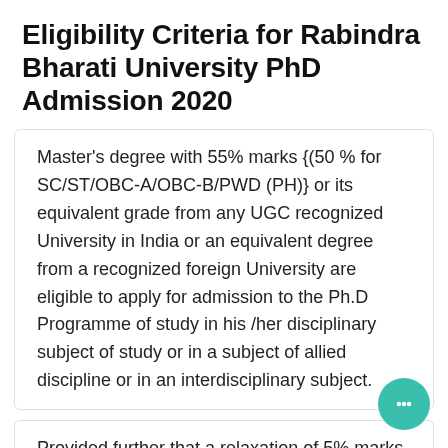Eligibility Criteria for Rabindra Bharati University PhD Admission 2020
Master's degree with 55% marks {(50 % for SC/ST/OBC-A/OBC-B/PWD (PH)} or its equivalent grade from any UGC recognized University in India or an equivalent degree from a recognized foreign University are eligible to apply for admission to the Ph.D Programme of study in his /her disciplinary subject of study or in a subject of allied discipline or in an interdisciplinary subject.
Provided further that a relaxation of 5% marks from 55% to 50% {(From 50 to